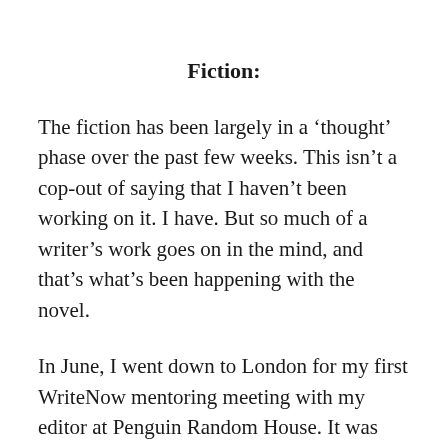Fiction:
The fiction has been largely in a ‘thought’ phase over the past few weeks. This isn’t a cop-out of saying that I haven’t been working on it. I have. But so much of a writer’s work goes on in the mind, and that’s what’s been happening with the novel.
In June, I went down to London for my first WriteNow mentoring meeting with my editor at Penguin Random House. It was such a rewarding meeting: to have somebody look at